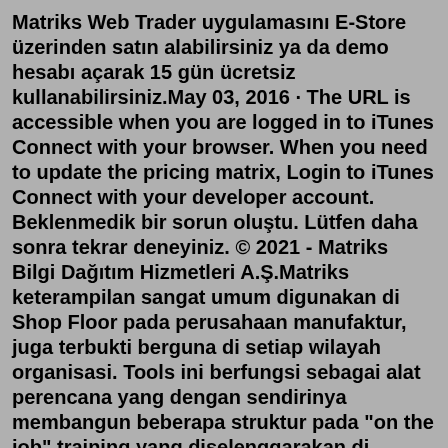Matriks Web Trader uygulamasını E-Store üzerinden satın alabilirsiniz ya da demo hesabı açarak 15 gün ücretsiz kullanabilirsiniz.May 03, 2016 · The URL is accessible when you are logged in to iTunes Connect with your browser. When you need to update the pricing matrix, Login to iTunes Connect with your developer account. Beklenmedik bir sorun oluştu. Lütfen daha sonra tekrar deneyiniz. © 2021 - Matriks Bilgi Dağıtım Hizmetleri A.Ş.Matriks keterampilan sangat umum digunakan di Shop Floor pada perusahaan manufaktur, juga terbukti berguna di setiap wilayah organisasi. Tools ini berfungsi sebagai alat perencana yang dengan sendirinya membangun beberapa struktur pada "on the job" training yang diselenggarakan di kebanyakan organisasi.Piyasa Analizi. Uzman kadromuz tarafından hazırlanan, hafta boyunca finansal piyasalarda yaşanacak olası hareketlerle ilgili görüşleri, istatistikleri, yorumları ve analizleri takip edebilir, sorularınızı uzmanlarımıza anında iletebilirsiniz.Matrix Internet Tracking, from MiX Telematics, provides MX3 and MX3...